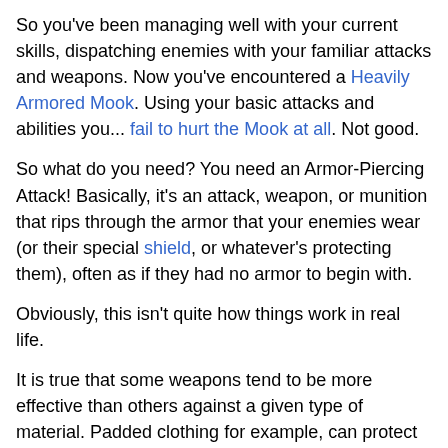So you've been managing well with your current skills, dispatching enemies with your familiar attacks and weapons. Now you've encountered a Heavily Armored Mook. Using your basic attacks and abilities you... fail to hurt the Mook at all. Not good.
So what do you need? You need an Armor-Piercing Attack! Basically, it's an attack, weapon, or munition that rips through the armor that your enemies wear (or their special shield, or whatever's protecting them), often as if they had no armor to begin with.
Obviously, this isn't quite how things work in real life.
It is true that some weapons tend to be more effective than others against a given type of material. Padded clothing for example, can protect against cuts and blows, but is easily pierced by a sharp point. Solid armour-piercing shot is certainly better at punching through armoured warships and tanks than a simple high-explosive shell. However, fiction